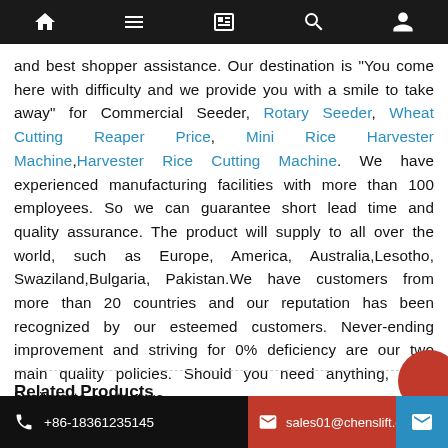[Navigation bar with home, menu, book, search, and user icons]
and best shopper assistance. Our destination is "You come here with difficulty and we provide you with a smile to take away" for Commercial Seeder, Rotary Seeder, Wheat Cutting Reaper Price, Mini Rice Harvester Machine, Harvester Rice Cutting Machine. We have experienced manufacturing facilities with more than 100 employees. So we can guarantee short lead time and quality assurance. The product will supply to all over the world, such as Europe, America, Australia,Lesotho, Swaziland,Bulgaria, Pakistan.We have customers from more than 20 countries and our reputation has been recognized by our esteemed customers. Never-ending improvement and striving for 0% deficiency are our two main quality policies. Should you need anything, don't hesitate to contact us.
Related Products
+86-18361235145   sales01@chenslift.cc